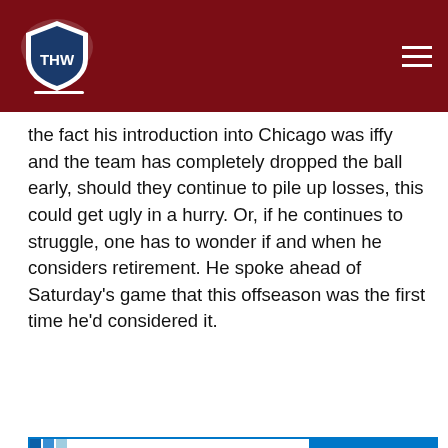THW - The Hockey Writers
the fact his introduction into Chicago was iffy and the team has completely dropped the ball early, should they continue to pile up losses, this could get ugly in a hurry. Or, if he continues to struggle, one has to wonder if and when he considers retirement. He spoke ahead of Saturday's game that this offseason was the first time he'd considered it.
[Figure (logo): Morning Skate by The Hockey Writers banner with blue bars icon and Click to Subscribe button]
[Figure (screenshot): THW News and Rumors Rundown - Tkachuk, McAvoy, Pacioretty video thumbnail with The Hockey Writers logo and 60 Second Ritual Rebuilds overlay]